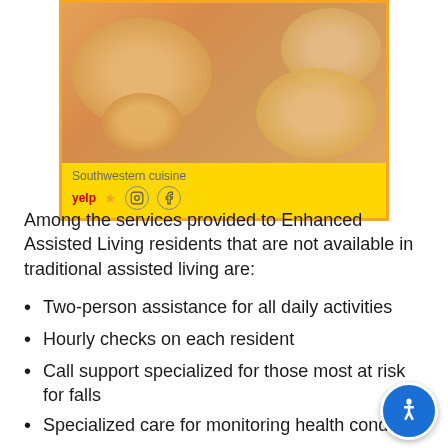[Figure (photo): Photo of Southwestern cuisine food plates with an orange tint overlay, showing white plates with rice and food items. Below the image is a yellow caption bar with 'Southwestern cuisine' text and Yelp, Instagram, and Facebook icons.]
Southwestern cuisine
yelp ☆ [Instagram] [Facebook]
Among the services provided to Enhanced Assisted Living residents that are not available in traditional assisted living are:
Two-person assistance for all daily activities
Hourly checks on each resident
Call support specialized for those most at risk for falls
Specialized care for monitoring health condi[tions]
Total assistance with medications when needed